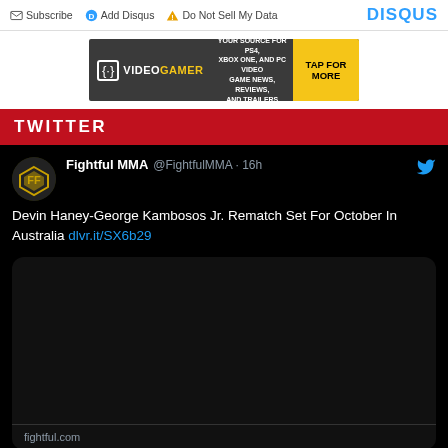Subscribe  Add Disqus  Do Not Sell My Data  DISQUS
[Figure (screenshot): VideoGamer advertisement banner: dark grey background with VideoGamer logo, tagline 'Your source for PS4, Xbox One, and PC video game news, reviews, and trailers', yellow 'TAP FOR MORE' button]
TWITTER
Fightful MMA @FightfulMMA · 16h
Devin Haney-George Kambosos Jr. Rematch Set For October In Australia dlvr.it/SX6b29
[Figure (screenshot): Black embedded image area within tweet (content not visible)]
fightful.com